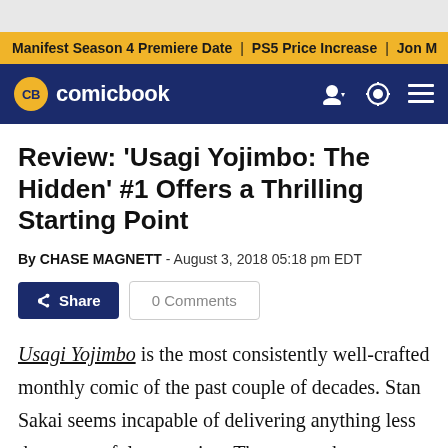Manifest Season 4 Premiere Date | PS5 Price Increase | Jon M
Review: 'Usagi Yojimbo: The Hidden' #1 Offers a Thrilling Starting Point
By CHASE MAGNETT - August 3, 2018 05:18 pm EDT
Share   0 Comments
Usagi Yojimbo is the most consistently well-crafted monthly comic of the past couple of decades. Stan Sakai seems incapable of delivering anything less than masterful cartooning. That can make addressing a new issue of the series difficult after more than 200 which utilized the same